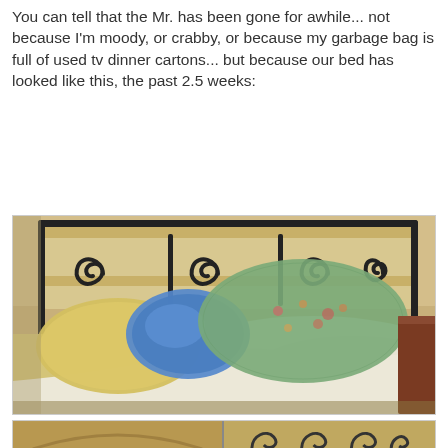You can tell that the Mr. has been gone for awhile... not because I'm moody, or crabby, or because my garbage bag is full of used tv dinner cartons... but because our bed has looked like this, the past 2.5 weeks:
[Figure (photo): A photograph of an unmade bed with wrought iron decorative headboard featuring scroll designs. Multiple pillows are piled on the bed including yellow/cream pillows, a blue pillow, and a green floral patterned pillow. White and cream bedding is rumpled. A dark wooden nightstand is visible on the right.]
[Figure (photo): Partial photograph showing the foot of the bed with decorative iron frame, split into two panels showing the wooden bed frame and scroll ironwork details.]